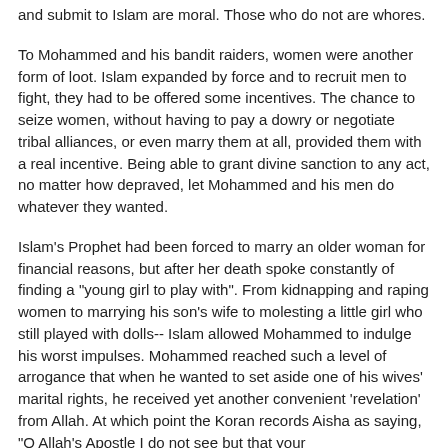and submit to Islam are moral. Those who do not are whores.
To Mohammed and his bandit raiders, women were another form of loot. Islam expanded by force and to recruit men to fight, they had to be offered some incentives. The chance to seize women, without having to pay a dowry or negotiate tribal alliances, or even marry them at all, provided them with a real incentive. Being able to grant divine sanction to any act, no matter how depraved, let Mohammed and his men do whatever they wanted.
Islam's Prophet had been forced to marry an older woman for financial reasons, but after her death spoke constantly of finding a "young girl to play with". From kidnapping and raping women to marrying his son's wife to molesting a little girl who still played with dolls-- Islam allowed Mohammed to indulge his worst impulses. Mohammed reached such a level of arrogance that when he wanted to set aside one of his wives' marital rights, he received yet another convenient 'revelation' from Allah. At which point the Koran records Aisha as saying, "O Allah's Apostle I do not see but that your